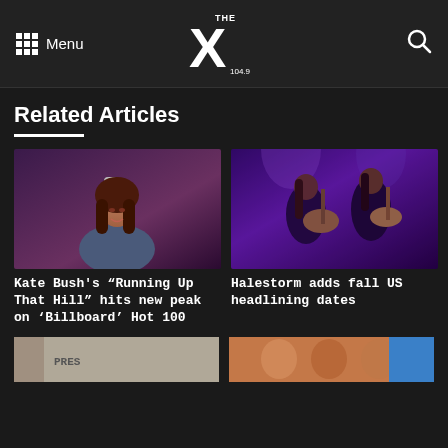Menu | THE X 104.9 | Search
Related Articles
[Figure (photo): Kate Bush performing on stage, singing into a microphone, wearing a blue-grey jacket with dark voluminous hair]
Kate Bush's “Running Up That Hill” hits new peak on ‘Billboard’ Hot 100
[Figure (photo): Halestorm band performing on stage with purple lighting, two guitarists visible]
Halestorm adds fall US headlining dates
[Figure (photo): Partially visible thumbnail of an article at bottom left]
[Figure (photo): Partially visible thumbnail of an article at bottom right with blue accent]